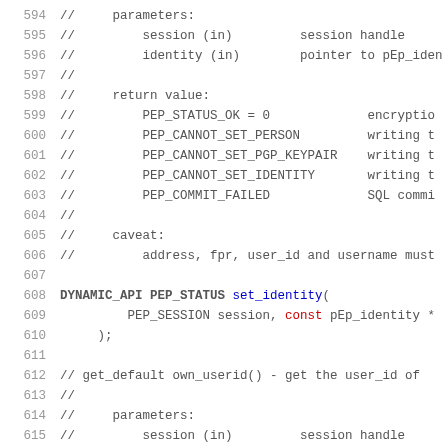594  //    parameters:
595  //        session (in)        session handle
596  //        identity (in)       pointer to pEp_iden
597  //
598  //    return value:
599  //        PEP_STATUS_OK = 0              encryptio
600  //        PEP_CANNOT_SET_PERSON          writing t
601  //        PEP_CANNOT_SET_PGP_KEYPAIR     writing t
602  //        PEP_CANNOT_SET_IDENTITY        writing t
603  //        PEP_COMMIT_FAILED              SQL commi
604  //
605  //    caveat:
606  //        address, fpr, user_id and username must
607
608  DYNAMIC_API PEP_STATUS set_identity(
609          PEP_SESSION session, const pEp_identity *
610      );
611
612  // get_default own_userid() - get the user_id of
613  //
614  //    parameters:
615  //        session (in)        session handle